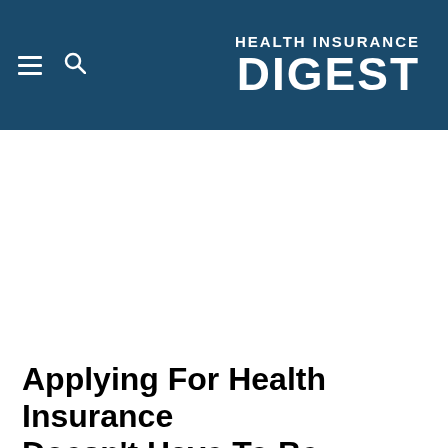HEALTH INSURANCE DIGEST
Applying For Health Insurance Doesn't Have To Be Confusing